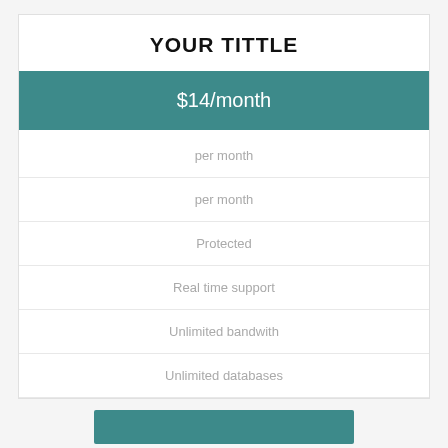YOUR TITTLE
$14/month
per month
per month
Protected
Real time support
Unlimited bandwith
Unlimited databases